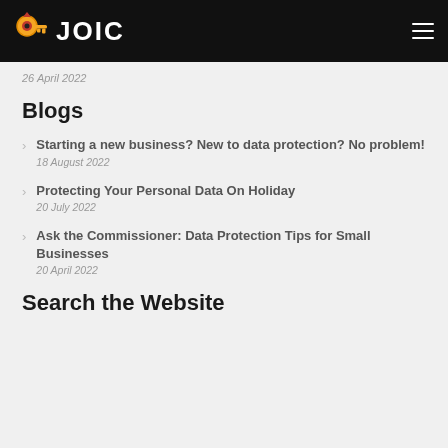JOIC
26 April 2022
Blogs
Starting a new business? New to data protection? No problem!
18 August 2022
Protecting Your Personal Data On Holiday
20 July 2022
Ask the Commissioner: Data Protection Tips for Small Businesses
20 April 2022
Search the Website